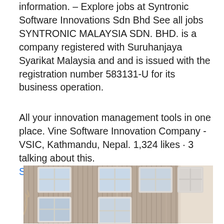information. – Explore jobs at Syntronic Software Innovations Sdn Bhd See all jobs SYNTRONIC MALAYSIA SDN. BHD. is a company registered with Suruhanjaya Syarikat Malaysia and and is issued with the registration number 583131-U for its business operation.
All your innovation management tools in one place. Vine Software Innovation Company - VSIC, Kathmandu, Nepal. 1,324 likes · 3 talking about this. Sjukskoterska administrativ tjanst
[Figure (photo): Exterior photo of a building facade with grey/tan corrugated metal siding and multiple white-framed windows with four panes each arranged in two visible rows. A tree branch is partially visible at lower left.]